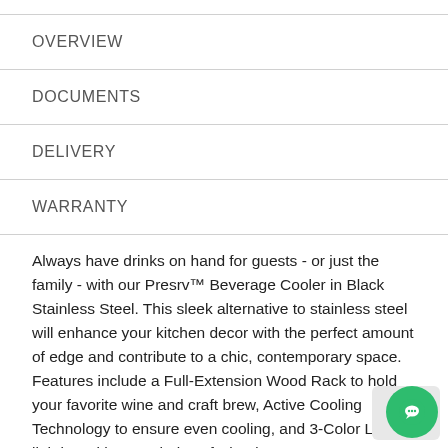OVERVIEW
DOCUMENTS
DELIVERY
WARRANTY
Always have drinks on hand for guests - or just the family - with our Presrv™ Beverage Cooler in Black Stainless Steel. This sleek alternative to stainless steel will enhance your kitchen decor with the perfect amount of edge and contribute to a chic, contemporary space. Features include a Full-Extension Wood Rack to hold your favorite wine and craft brew, Active Cooling Technology to ensure even cooling, and 3-Color LED lighting with your choice of Cloud…